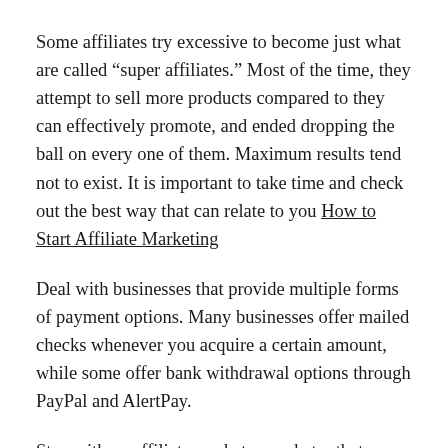Some affiliates try excessive to become just what are called “super affiliates.” Most of the time, they attempt to sell more products compared to they can effectively promote, and ended dropping the ball on every one of them. Maximum results tend not to exist. It is important to take time and check out the best way that can relate to you How to Start Affiliate Marketing
Deal with businesses that provide multiple forms of payment options. Many businesses offer mailed checks whenever you acquire a certain amount, while some offer bank withdrawal options through PayPal and AlertPay.
Stay with an affiliate marketer marketer that constantly churns out products. The wonderful thing about finding these kinds of companies is due